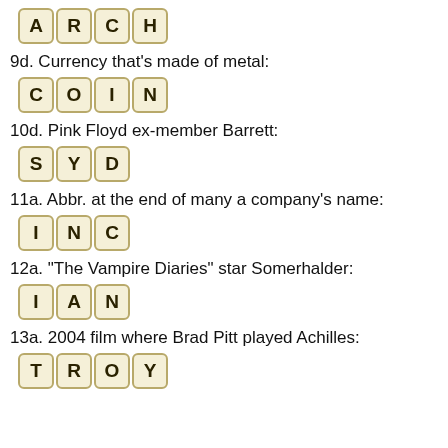[Figure (other): Tiles spelling ARCH]
9d. Currency that's made of metal:
[Figure (other): Tiles spelling COIN]
10d. Pink Floyd ex-member Barrett:
[Figure (other): Tiles spelling SYD]
11a. Abbr. at the end of many a company's name:
[Figure (other): Tiles spelling INC]
12a. "The Vampire Diaries" star Somerhalder:
[Figure (other): Tiles spelling IAN]
13a. 2004 film where Brad Pitt played Achilles:
[Figure (other): Tiles spelling TROY (partial)]